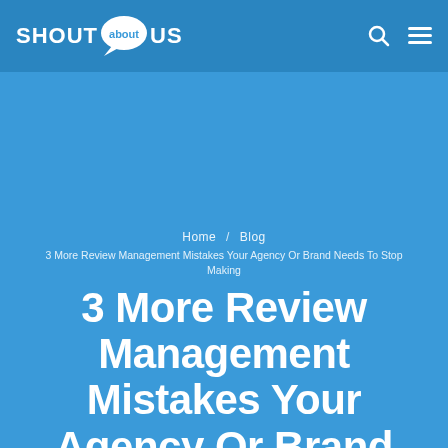SHOUT about US
Home / Blog / 3 More Review Management Mistakes Your Agency Or Brand Needs To Stop Making
3 More Review Management Mistakes Your Agency Or Brand Needs To Stop Making